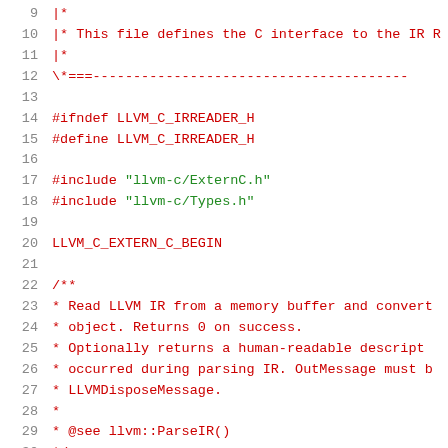Code listing showing C header file for LLVM IR reader interface, lines 9-30
9  |*
10 |* This file defines the C interface to the IR R
11 |*
12 \*====---
13 (blank)
14 #ifndef LLVM_C_IRREADER_H
15 #define LLVM_C_IRREADER_H
16 (blank)
17 #include "llvm-c/ExternC.h"
18 #include "llvm-c/Types.h"
19 (blank)
20 LLVM_C_EXTERN_C_BEGIN
21 (blank)
22 /**
23  * Read LLVM IR from a memory buffer and convert
24  * object. Returns 0 on success.
25  * Optionally returns a human-readable descript
26  * occurred during parsing IR. OutMessage must b
27  * LLVMDisposeMessage.
28  *
29  * @see llvm::ParseIR()
30  */